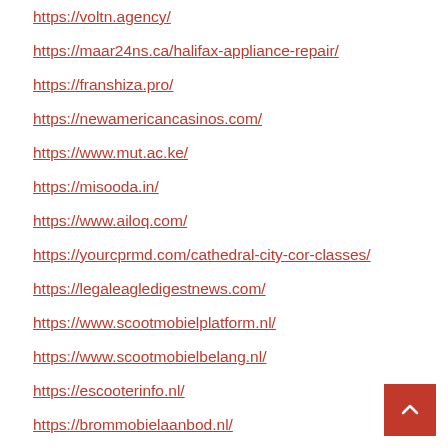https://voltn.agency/
https://maar24ns.ca/halifax-appliance-repair/
https://franshiza.pro/
https://newamericancasinos.com/
https://www.mut.ac.ke/
https://misooda.in/
https://www.ailoq.com/
https://yourcprmd.com/cathedral-city-cor-classes/
https://legaleagledigestnews.com/
https://www.scootmobielplatform.nl/
https://www.scootmobielbelang.nl/
https://escooterinfo.nl/
https://brommobielaanbod.nl/
https://www.scootersite.nl/
https://bitnewsbot.com/